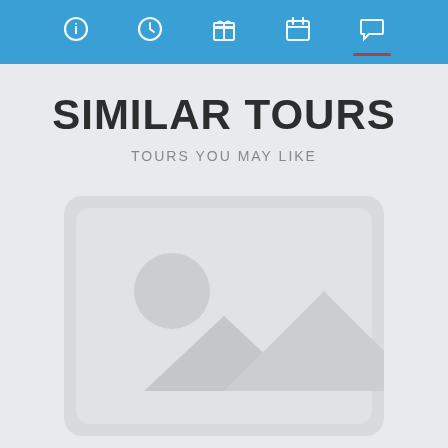Navigation bar with icons: info, clock, box/gift, calendar, message/chat
SIMILAR TOURS
TOURS YOU MAY LIKE
[Figure (photo): Placeholder image with light grey background, rounded corners, showing a generic image placeholder icon (mountain landscape silhouette with sun/circle)]